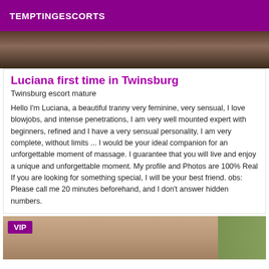TEMPTINGESCORTS
[Figure (photo): Top portion of a person's photo, cropped]
Luciana first time in Twinsburg
Twinsburg escort mature
Hello I'm Luciana, a beautiful tranny very feminine, very sensual, I love blowjobs, and intense penetrations, I am very well mounted expert with beginners, refined and I have a very sensual personality, I am very complete, without limits ... I would be your ideal companion for an unforgettable moment of massage. I guarantee that you will live and enjoy a unique and unforgettable moment. My profile and Photos are 100% Real If you are looking for something special, I will be your best friend. obs: Please call me 20 minutes beforehand, and I don't answer hidden numbers.
[Figure (photo): Bottom photo of a person with VIP badge, green foliage in background]